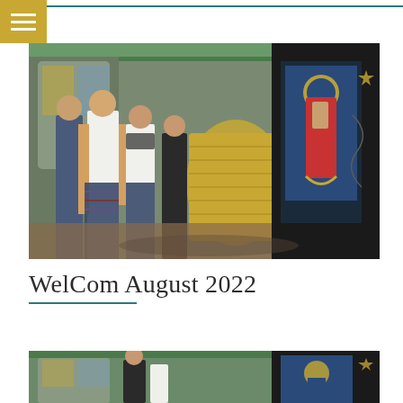[Figure (photo): Students in school uniforms (tartan skirts, white shirts, dark scarves) gathered around a woven flax basket/kete in a room decorated with religious icons including a painting of the Madonna and Child in a New Zealand Maori-influenced style]
WelCom August 2022
[Figure (photo): Partial view of the same room with students and religious icons, cropped at bottom of page]